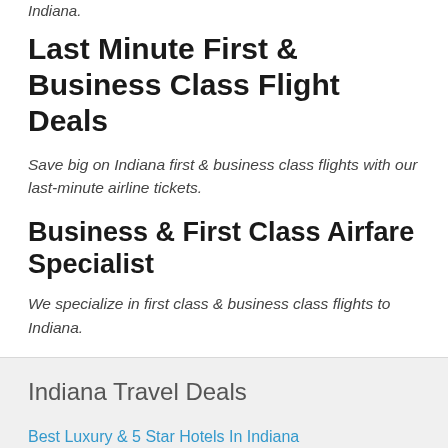Indiana.
Last Minute First & Business Class Flight Deals
Save big on Indiana first & business class flights with our last-minute airline tickets.
Business & First Class Airfare Specialist
We specialize in first class & business class flights to Indiana.
Indiana Travel Deals
Best Luxury & 5 Star Hotels In Indiana
Cheap Indiana Rental Car
Things To Do In Indiana